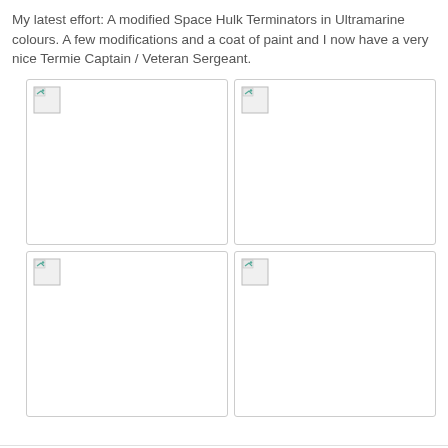My latest effort: A modified Space Hulk Terminators in Ultramarine colours. A few modifications and a coat of paint and I now have a very nice Termie Captain / Veteran Sergeant.
[Figure (photo): Placeholder image box top-left (broken image icon visible)]
[Figure (photo): Placeholder image box top-right (broken image icon visible)]
[Figure (photo): Placeholder image box bottom-left (broken image icon visible)]
[Figure (photo): Placeholder image box bottom-right (broken image icon visible)]